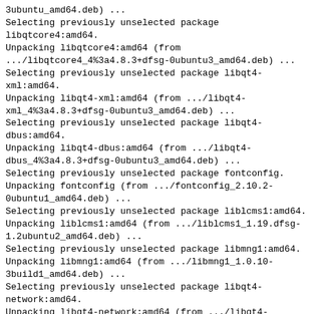3ubuntu_amd64.deb) ...
Selecting previously unselected package libqtcore4:amd64.
Unpacking libqtcore4:amd64 (from .../libqtcore4_4%3a4.8.3+dfsg-0ubuntu3_amd64.deb) ...
Selecting previously unselected package libqt4-xml:amd64.
Unpacking libqt4-xml:amd64 (from .../libqt4-xml_4%3a4.8.3+dfsg-0ubuntu3_amd64.deb) ...
Selecting previously unselected package libqt4-dbus:amd64.
Unpacking libqt4-dbus:amd64 (from .../libqt4-dbus_4%3a4.8.3+dfsg-0ubuntu3_amd64.deb) ...
Selecting previously unselected package fontconfig.
Unpacking fontconfig (from .../fontconfig_2.10.2-0ubuntu1_amd64.deb) ...
Selecting previously unselected package liblcms1:amd64.
Unpacking liblcms1:amd64 (from .../liblcms1_1.19.dfsg-1.2ubuntu2_amd64.deb) ...
Selecting previously unselected package libmng1:amd64.
Unpacking libmng1:amd64 (from .../libmng1_1.0.10-3build1_amd64.deb) ...
Selecting previously unselected package libqt4-network:amd64.
Unpacking libqt4-network:amd64 (from .../libqt4-network_4%3a4.8.3+dfsg-0ubuntu3_amd64.deb) ...
Selecting previously unselected package libqt4-script:amd64.
Unpacking libqt4-script:amd64 (from .../libqt4-script_4%3a4.8.3+dfsg-0ubuntu3_amd64.deb) ...
Selecting previously unselected package libqt4-